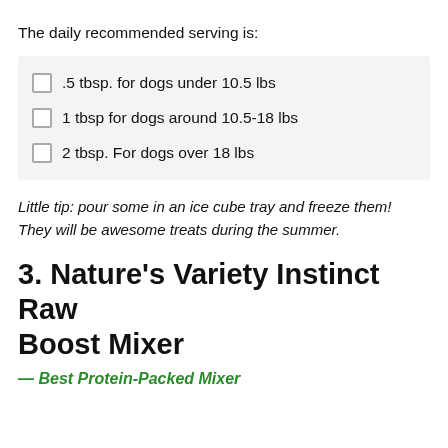The daily recommended serving is:
.5 tbsp. for dogs under 10.5 lbs
1 tbsp for dogs around 10.5-18 lbs
2 tbsp. For dogs over 18 lbs
Little tip: pour some in an ice cube tray and freeze them! They will be awesome treats during the summer.
3. Nature's Variety Instinct Raw Boost Mixer
— Best Protein-Packed Mixer